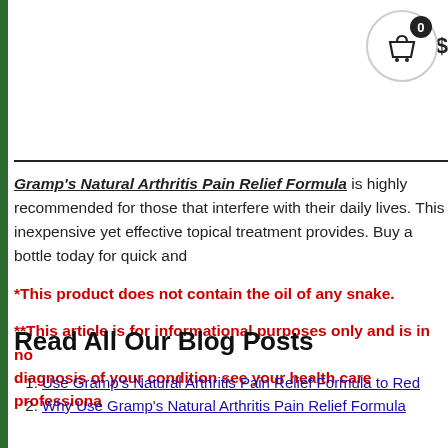[Figure (other): Shopping cart icon with badge showing 0 and price indicator top right corner]
Gramp's Natural Arthritis Pain Relief Formula is highly recommended for those that interfere with their daily lives. This inexpensive yet effective topical treatment provides. Buy a bottle today for quick and
*This product does not contain the oil of any snake.
**This article is for informational purposes only and is in no diagnosis of your condition see your health care professiona
Read All Our Blog Posts
Use Gramp's Natural Arthritis Pain Relief Formula to Red
Why Use Gramp's Natural Arthritis Pain Relief Formula